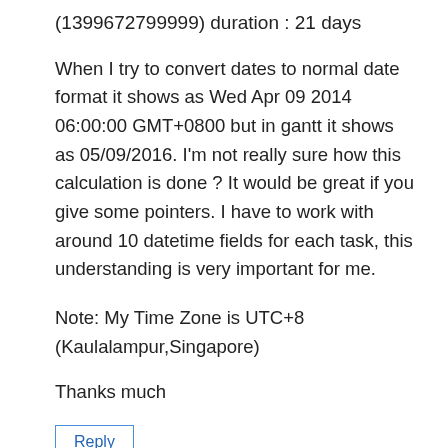(1399672799999) duration : 21 days
When I try to convert dates to normal date format it shows as Wed Apr 09 2014 06:00:00 GMT+0800 but in gantt it shows as 05/09/2016. I'm not really sure how this calculation is done ? It would be great if you give some pointers. I have to work with around 10 datetime fields for each task, this understanding is very important for me.
Note: My Time Zone is UTC+8 (Kaulalampur,Singapore)
Thanks much
Reply
Roberto Bicchierai